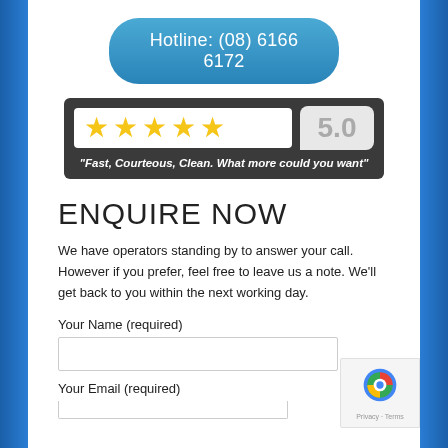Hotline: (08) 6166 6172
[Figure (infographic): Five yellow stars rating with 5.0 score bubble and quote: "Fast, Courteous, Clean. What more could you want"]
ENQUIRE NOW
We have operators standing by to answer your call. However if you prefer, feel free to leave us a note. We'll get back to you within the next working day.
Your Name (required)
Your Email (required)